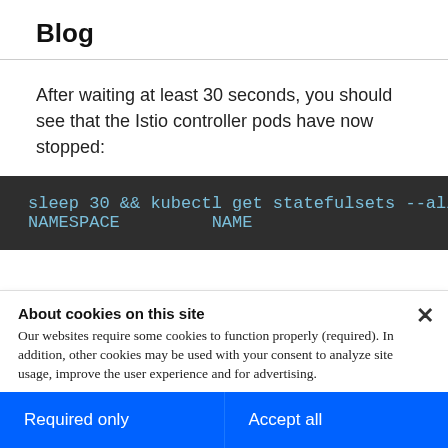Blog
After waiting at least 30 seconds, you should see that the Istio controller pods have now stopped:
[Figure (screenshot): Dark terminal code block showing: sleep 30 && kubectl get statefulsets --all-name  /  NAMESPACE        NAME]
About cookies on this site
Our websites require some cookies to function properly (required). In addition, other cookies may be used with your consent to analyze site usage, improve the user experience and for advertising.

For more information, please review your Cookie preferences options and IBM's privacy statement.
Required only   Accept all